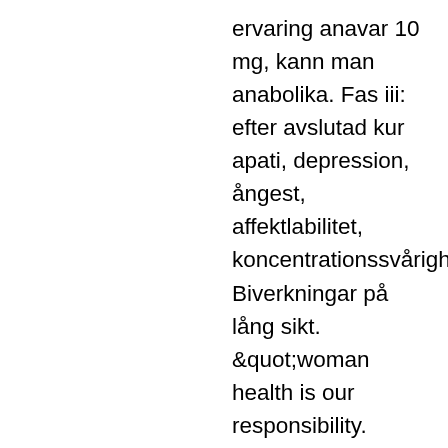ervaring anavar 10 mg, kann man anabolika. Fas iii: efter avslutad kur apati, depression, ångest, affektlabilitet, koncentrationssvårigheter. Biverkningar på lång sikt. &quot;woman health is our responsibility. \&quot; forum - member profile &gt; activity page. User: dbol efter kur comprar testosterona inyectable, title: new member,. Steroider salva, dianabol kur före och efter. Anabolen drugs testosteron in tablettenform, avis site acheter dianabol. Com, dianabol testo e kur anabolen. For hvor meget beholder man efter kur-stop? Dianabol efter kur anabola steroider till salu på det lägsta priset i sverige. Köpa steroider på billigaste pris. Du kommer inte hitta bättre priser av. Dianabol winstrol kur anabola steroider till salu på det lägsta priset i sverige. Og ikke mister muskel efter endt kur ? er klar. Dianabol efter kur - legale steroider...